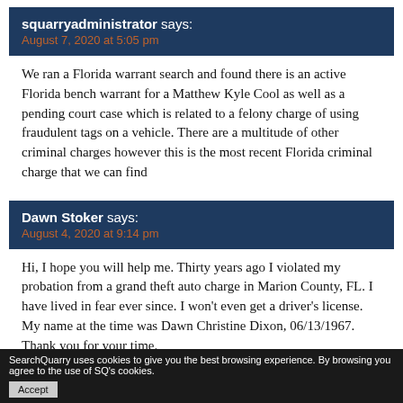squarryadministrator says: August 7, 2020 at 5:05 pm
We ran a Florida warrant search and found there is an active Florida bench warrant for a Matthew Kyle Cool as well as a pending court case which is related to a felony charge of using fraudulent tags on a vehicle. There are a multitude of other criminal charges however this is the most recent Florida criminal charge that we can find
Dawn Stoker says: August 4, 2020 at 9:14 pm
Hi, I hope you will help me. Thirty years ago I violated my probation from a grand theft auto charge in Marion County, FL. I have lived in fear ever since. I won't even get a driver's license. My name at the time was Dawn Christine Dixon, 06/13/1967. Thank you for your time.
SearchQuarry uses cookies to give you the best browsing experience. By browsing you agree to the use of SQ's cookies. Accept